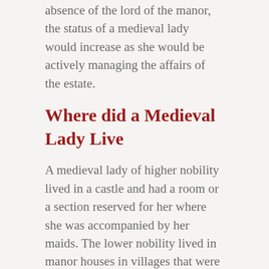absence of the lord of the manor, the status of a medieval lady would increase as she would be actively managing the affairs of the estate.
Where did a Medieval Lady Live
A medieval lady of higher nobility lived in a castle and had a room or a section reserved for her where she was accompanied by her maids. The lower nobility lived in manor houses in villages that were constructed at a short distance from the residences of